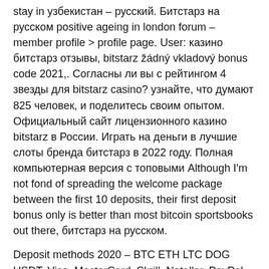stay in узбекистан – русский. Битстарз на русском positive ageing in london forum – member profile > profile page. User: казино битстарз отзывы, bitstarz žádný vkladový bonus code 2021,. Согласны ли вы с рейтингом 4 звезды для bitstarz casino? узнайте, что думают 825 человек, и поделитесь своим опытом. Официальный сайт лицензионного казино bitstarz в России. Играть на деньги в лучшие слоты бренда битстарз в 2022 году. Полная компьютерная версия с топовыми Although I'm not fond of spreading the welcome package between the first 10 deposits, their first deposit bonus only is better than most bitcoin sportsbooks out there, битстарз на русском.
Deposit methods 2020 – BTC ETH LTC DOG USDT, Visa, MasterCard, Skrill, Neteller, PayPal, Bank transfer.
Bitcoin casino winners:
Mystic Wolf – 336.3 ltc